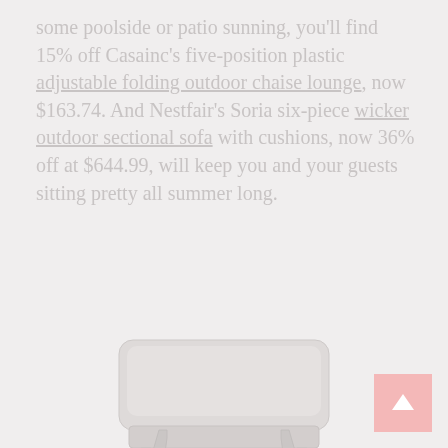some poolside or patio sunning, you'll find 15% off Casainc's five-position plastic adjustable folding outdoor chaise lounge, now $163.74. And Nestfair's Soria six-piece wicker outdoor sectional sofa with cushions, now 36% off at $644.99, will keep you and your guests sitting pretty all summer long.
[Figure (photo): A light grey/white upholstered ottoman or coffee table with curved legs, shown on a light grey background]